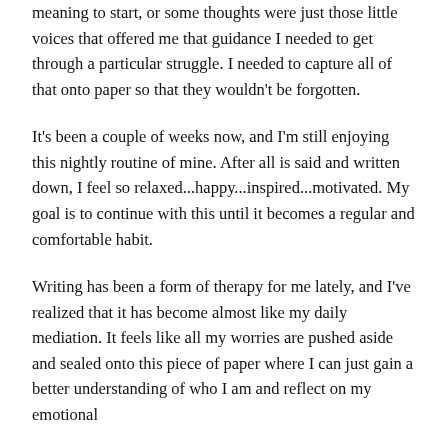meaning to start, or some thoughts were just those little voices that offered me that guidance I needed to get through a particular struggle. I needed to capture all of that onto paper so that they wouldn't be forgotten.
It's been a couple of weeks now, and I'm still enjoying this nightly routine of mine. After all is said and written down, I feel so relaxed...happy...inspired...motivated. My goal is to continue with this until it becomes a regular and comfortable habit.
Writing has been a form of therapy for me lately, and I've realized that it has become almost like my daily mediation. It feels like all my worries are pushed aside and sealed onto this piece of paper where I can just gain a better understanding of who I am and reflect on my emotional